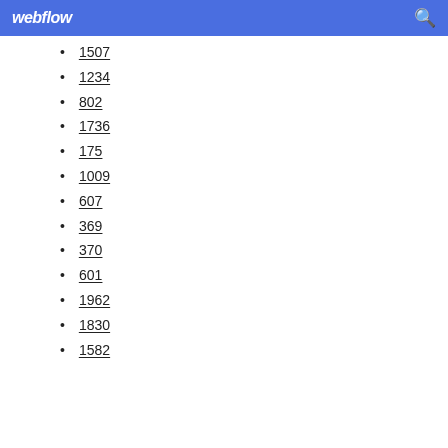webflow
1507
1234
802
1736
175
1009
607
369
370
601
1962
1830
1582